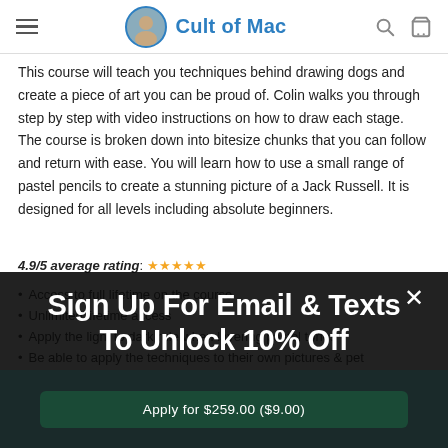Cult of Mac
This course will teach you techniques behind drawing dogs and create a piece of art you can be proud of. Colin walks you through step by step with video instructions on how to draw each stage. The course is broken down into bitesize chunks that you can follow and return with ease. You will learn how to use a small range of pastel pencils to create a stunning picture of a Jack Russell. It is designed for all levels including absolute beginners.
4.9/5 average rating: ★★★★★
Access to full lifetime on the course
Unlimited lifetime access
Apply the light to dark rule when layering pastel tones
Be able to apply the techniques to their own pictures & pet
[Figure (screenshot): Popup overlay with 'Sign Up For Email & Texts To Unlock 10% Off' message and 'Get Discount' button]
Apply for $259.00 ($9.00)